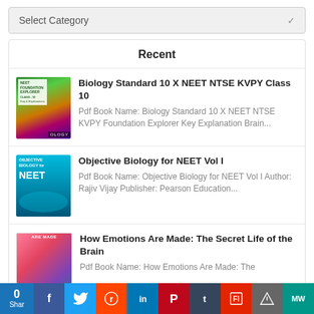Select Category
Recent
Biology Standard 10 X NEET NTSE KVPY Class 10 — Pdf Book Name: Biology Standard 10 X NEET NTSE KVPY Foundation Explorer Key Explanation Brain...
Objective Biology for NEET Vol I — Pdf Book Name: Objective Biology for NEET Vol I Author: Rajiv Vijay Publisher: Pearson Education...
How Emotions Are Made: The Secret Life of the Brain — Pdf Book Name: How Emotions Are Made: The
0 Share